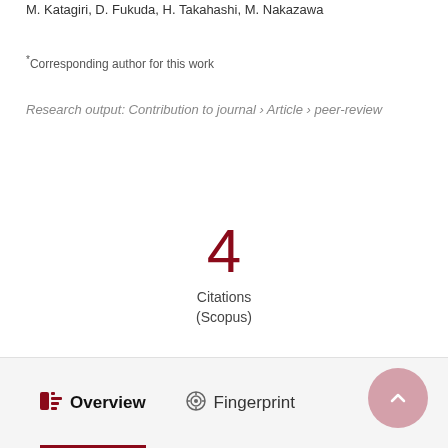M. Katagiri, D. Fukuda, H. Takahashi, M. Nakazawa
*Corresponding author for this work
Research output: Contribution to journal › Article › peer-review
4
Citations
(Scopus)
Overview
Fingerprint